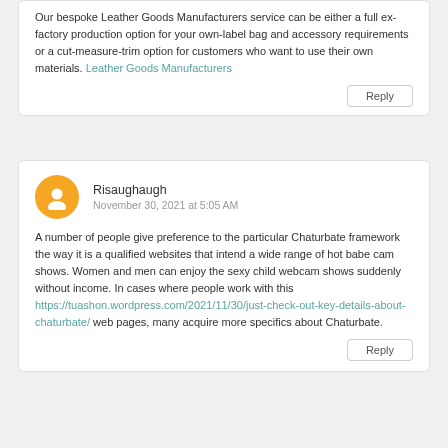Our bespoke Leather Goods Manufacturers service can be either a full ex-factory production option for your own-label bag and accessory requirements or a cut-measure-trim option for customers who want to use their own materials. Leather Goods Manufacturers
Reply
Risaughaugh
November 30, 2021 at 5:05 AM
A number of people give preference to the particular Chaturbate framework the way it is a qualified websites that intend a wide range of hot babe cam shows. Women and men can enjoy the sexy child webcam shows suddenly without income. In cases where people work with this https://tuashon.wordpress.com/2021/11/30/just-check-out-key-details-about-chaturbate/ web pages, many acquire more specifics about Chaturbate.
Reply